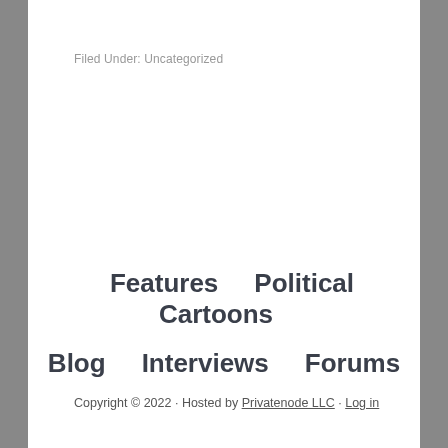Filed Under: Uncategorized
Features   Political Cartoons   Blog   Interviews   Forums
Copyright © 2022 · Hosted by Privatenode LLC · Log in